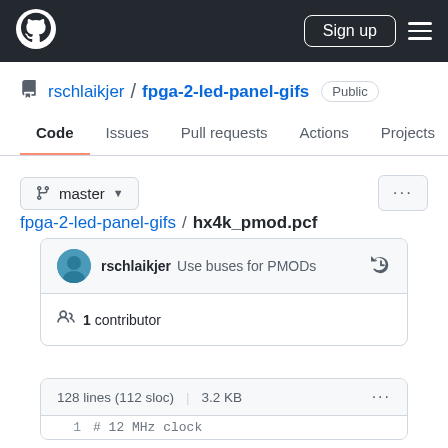GitHub navigation header with logo, Sign up button, and hamburger menu
rschlaikjer / fpga-2-led-panel-gifs Public
Code  Issues  Pull requests  Actions  Projects  Secu
master
fpga-2-led-panel-gifs / hx4k_pmod.pcf
rschlaikjer Use buses for PMODs
1 contributor
128 lines (112 sloc)  3.2 KB
1    # 12 MHz clock